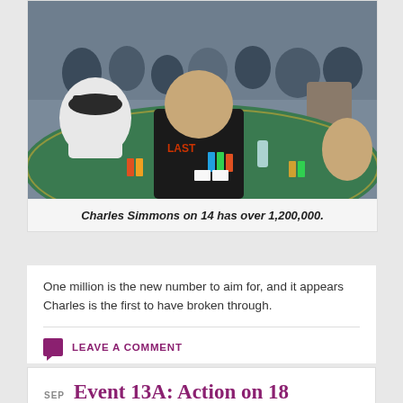[Figure (photo): Poker players sitting at a green felt poker table with chips, in a casino setting. Man in black shirt in the foreground.]
Charles Simmons on 14 has over 1,200,000.
One million is the new number to aim for, and it appears Charles is the first to have broken through.
LEAVE A COMMENT
Event 13A: Action on 18